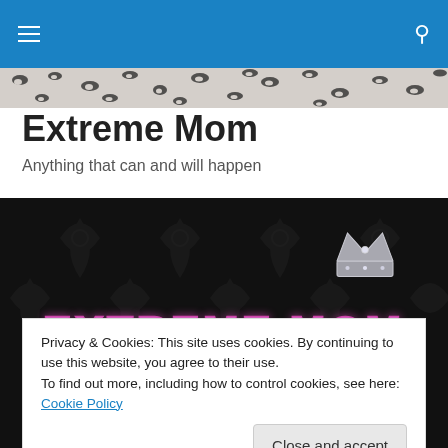Navigation bar with hamburger menu and search icon
[Figure (illustration): Leopard print pattern banner strip]
Extreme Mom
Anything that can and will happen
[Figure (illustration): Dark decorative banner with pink glittery text 'EXTREME MOM' and crown graphic, subtitle 'Blissfully imperfect']
Privacy & Cookies: This site uses cookies. By continuing to use this website, you agree to their use.
To find out more, including how to control cookies, see here: Cookie Policy
Close and accept